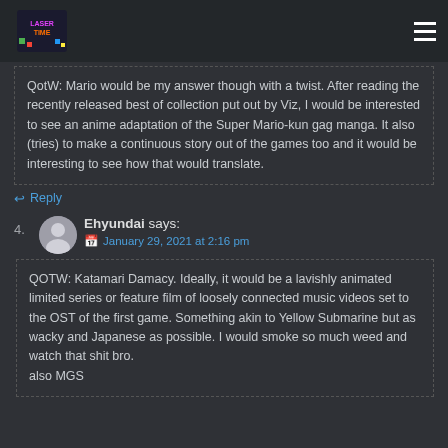Laser Time
QotW: Mario would be my answer though with a twist. After reading the recently released best of collection put out by Viz, I would be interested to see an anime adaptation of the Super Mario-kun gag manga. It also (tries) to make a continuous story out of the games too and it would be interesting to see how that would translate.
Reply
4. Ehyundai says:
January 29, 2021 at 2:16 pm
QOTW: Katamari Damacy. Ideally, it would be a lavishly animated limited series or feature film of loosely connected music videos set to the OST of the first game. Something akin to Yellow Submarine but as wacky and Japanese as possible. I would smoke so much weed and watch that shit bro.
also MGS